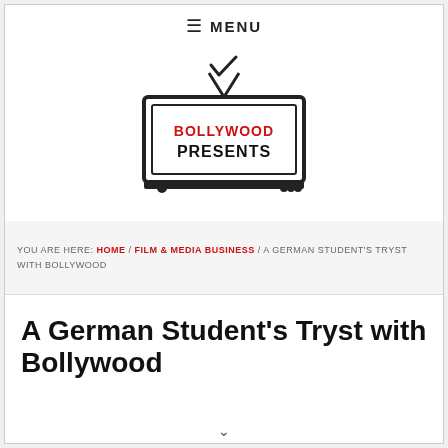≡ MENU
[Figure (logo): Bollywood Presents logo — a TV set outline with antenna, red text BOLLYWOOD and black bold text PRESENTS inside]
YOU ARE HERE: HOME / FILM & MEDIA BUSINESS / A GERMAN STUDENT'S TRYST WITH BOLLYWOOD
A German Student's Tryst with Bollywood